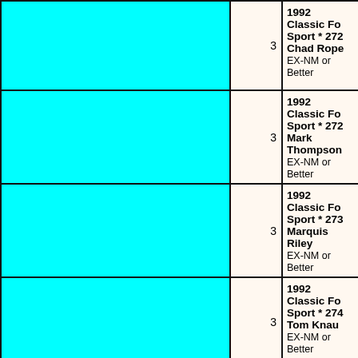| (image) | Qty | Description |
| --- | --- | --- |
|  | 3 | 1992 Classic Fo Sport * 272 Chad Rope EX-NM or Better |
|  | 3 | 1992 Classic Fo Sport * 272 Mark Thompson EX-NM or Better |
|  | 3 | 1992 Classic Fo Sport * 273 Marquis Riley EX-NM or Better |
|  | 3 | 1992 Classic Fo Sport * 274 Tom Knau EX-NM or Better |